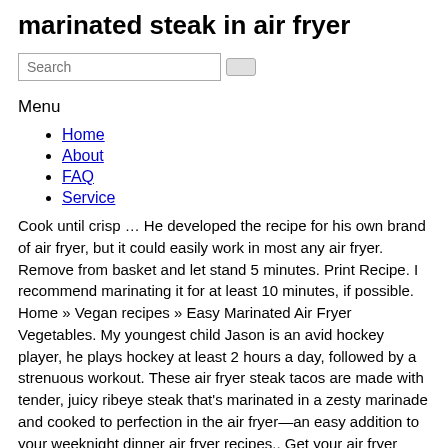marinated steak in air fryer
Search
Menu
Home
About
FAQ
Service
Cook until crisp … He developed the recipe for his own brand of air fryer, but it could easily work in most any air fryer. Remove from basket and let stand 5 minutes. Print Recipe. I recommend marinating it for at least 10 minutes, if possible. Home » Vegan recipes » Easy Marinated Air Fryer Vegetables. My youngest child Jason is an avid hockey player, he plays hockey at least 2 hours a day, followed by a strenuous workout. These air fryer steak tacos are made with tender, juicy ribeye steak that's marinated in a zesty marinade and cooked to perfection in the air fryer—an easy addition to your weeknight dinner air fryer recipes.. Get your air fryer ready for Taco Tuesday because this air fryer steak taco recipe is going to be a hit! Craving for steak? June 30, 2020. I actually felt kind of bad because it really takes no skill at all to